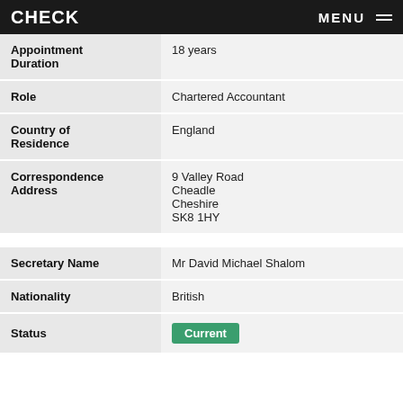CHECK  MENU
| Field | Value |
| --- | --- |
| Appointment Duration | 18 years |
| Role | Chartered Accountant |
| Country of Residence | England |
| Correspondence Address | 9 Valley Road
Cheadle
Cheshire
SK8 1HY |
| Secretary Name | Mr David Michael Shalom |
| Nationality | British |
| Status | Current |